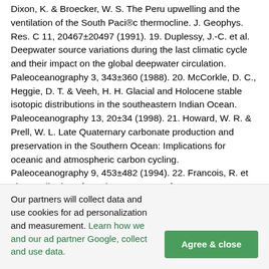Dixon, K. & Broecker, W. S. The Peru upwelling and the ventilation of the South Paci®c thermocline. J. Geophys. Res. C 11, 20467±20497 (1991). 19. Duplessy, J.-C. et al. Deepwater source variations during the last climatic cycle and their impact on the global deepwater circulation. Paleoceanography 3, 343±360 (1988). 20. McCorkle, D. C., Heggie, D. T. & Veeh, H. H. Glacial and Holocene stable isotopic distributions in the southeastern Indian Ocean. Paleoceanography 13, 20±34 (1998). 21. Howard, W. R. & Prell, W. L. Late Quaternary carbonate production and preservation in the Southern Ocean: Implications for oceanic and atmospheric carbon cycling. Paleoceanography 9, 453±482 (1994). 22. Francois, R. et al. Contribution of Southern Ocean surface-water strati®cation to low atmospheric CO2 concentrations during the last glacial period. Nature 389, 929±935 (1997). 23. Rosenthal, Y., Boyle, E. A. & Labeyrie, L. D. Last glacial maximum paleochemistry and deepwater circulation in the Southern Ocean: Evidence from foraminiferal cadmium. Paleoceanography 12, 787± 796 (1997). 24. Lea, D. W. A trace metal perspective on the evolution of
Our partners will collect data and use cookies for ad personalization and measurement. Learn how we and our ad partner Google, collect and use data.
Agree & close